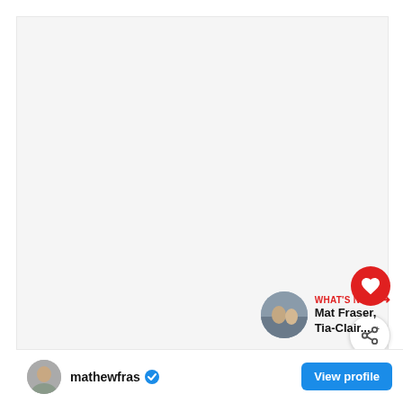[Figure (photo): Large white/light gray rectangular image area, content not visible]
[Figure (illustration): Red circular heart/like button]
[Figure (illustration): White circular share button with share icon]
WHAT'S NEXT → Mat Fraser, Tia-Clair...
mathewfras ✓ View profile